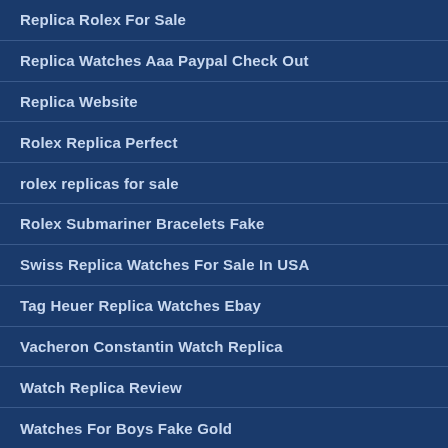Replica Rolex For Sale
Replica Watches Aaa Paypal Check Out
Replica Website
Rolex Replica Perfect
rolex replicas for sale
Rolex Submariner Bracelets Fake
Swiss Replica Watches For Sale In USA
Tag Heuer Replica Watches Ebay
Vacheron Constantin Watch Replica
Watch Replica Review
Watches For Boys Fake Gold